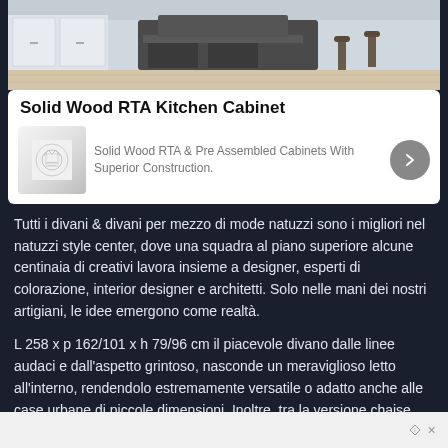[Figure (photo): Kitchen cabinet product photo showing a kitchen island with cabinets and bar stools]
Solid Wood RTA Kitchen Cabinet
[Figure (logo): Small decorative logo thumbnail for kitchen cabinet brand]
Solid Wood RTA & Pre Assembled Cabinets With Superior Construction.
Tutti i divani & divani per mezzo di mode natuzzi sono i migliori nel natuzzi style center, dove una squadra al piano superiore alcune centinaia di creativi lavora insieme a designer, esperti di colorazione, interior designer e architetti. Solo nelle mani dei nostri artigiani, le idee emergono come realtà.
L 258 x p 162/101 x h 79/96 cm il piacevole divano dalle linee audaci e dall'aspetto grintoso, nasconde un meraviglioso letto all'interno, rendendolo estremamente versatile o adatto anche alle case urbane di piccole dimensioni. Inoltre, tra la versione chaise longue e l'avambraccio portaoggetti, questo ti consente dopo tutto ciò di cui hai bisogno per il tuo abbigliamento a imitazione del divano letto.
Show More
Ad